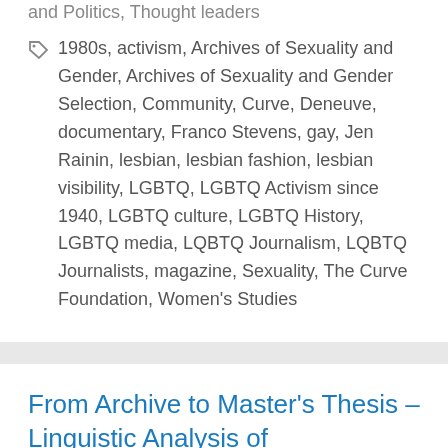and Politics, Thought leaders
1980s, activism, Archives of Sexuality and Gender, Archives of Sexuality and Gender Selection, Community, Curve, Deneuve, documentary, Franco Stevens, gay, Jen Rainin, lesbian, lesbian fashion, lesbian visibility, LGBTQ, LGBTQ Activism since 1940, LGBTQ culture, LGBTQ History, LGBTQ media, LQBTQ Journalism, LQBTQ Journalists, magazine, Sexuality, The Curve Foundation, Women's Studies
From Archive to Master's Thesis – Linguistic Analysis of